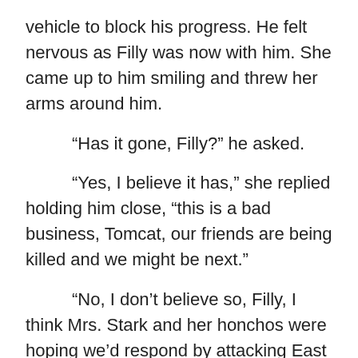vehicle to block his progress. He felt nervous as Filly was now with him. She came up to him smiling and threw her arms around him.
“Has it gone, Filly?” he asked.
“Yes, I believe it has,” she replied holding him close, “this is a bad business, Tomcat, our friends are being killed and we might be next.”
“No, I don’t believe so, Filly, I think Mrs. Stark and her honchos were hoping we’d respond by attacking East Europeans, but I think we will have to do the opposite, as we’ve lost one of our vehicles. I am hoping the police will detain those four, so we can mop up the rest. The problem is – I don’t believe Mrs. Stark is the leader, she was